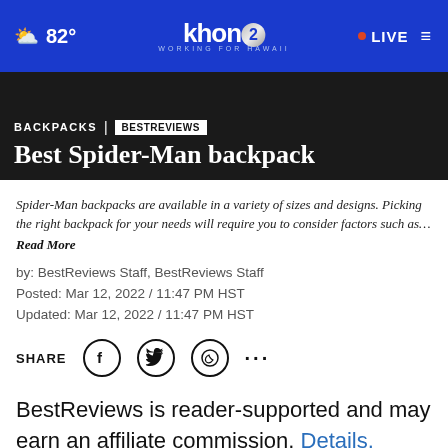82° khon2 WORKING FOR HAWAII · LIVE
BACKPACKS | BESTREVIEWS
Best Spider-Man backpack
Spider-Man backpacks are available in a variety of sizes and designs. Picking the right backpack for your needs will require you to consider factors such as… Read More
by: BestReviews Staff, BestReviews Staff
Posted: Mar 12, 2022 / 11:47 PM HST
Updated: Mar 12, 2022 / 11:47 PM HST
SHARE
BestReviews is reader-supported and may earn an affiliate commission. Details.